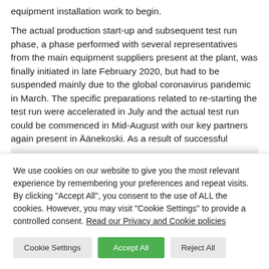equipment installation work to begin.
The actual production start-up and subsequent test run phase, a phase performed with several representatives from the main equipment suppliers present at the plant, was finally initiated in late February 2020, but had to be suspended mainly due to the global coronavirus pandemic in March. The specific preparations related to re-starting the test run were accelerated in July and the actual test run could be commenced in Mid-August with our key partners again present in Äänekoski. As a result of successful
We use cookies on our website to give you the most relevant experience by remembering your preferences and repeat visits. By clicking "Accept All", you consent to the use of ALL the cookies. However, you may visit "Cookie Settings" to provide a controlled consent. Read our Privacy and Cookie policies